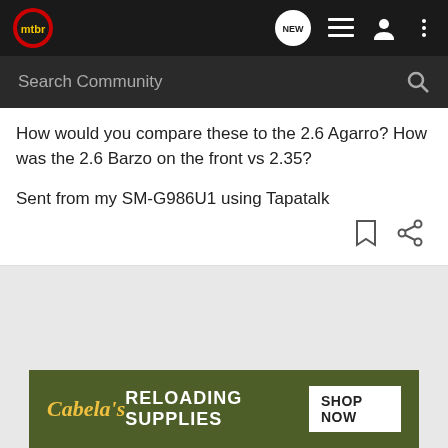mtbr navigation bar with logo, NEW chat icon, list icon, user icon, more icon
Search Community
How would you compare these to the 2.6 Agarro? How was the 2.6 Barzo on the front vs 2.35?

Sent from my SM-G986U1 using Tapatalk
[Figure (screenshot): Cabela's Reloading Supplies advertisement banner with SHOP NOW button]